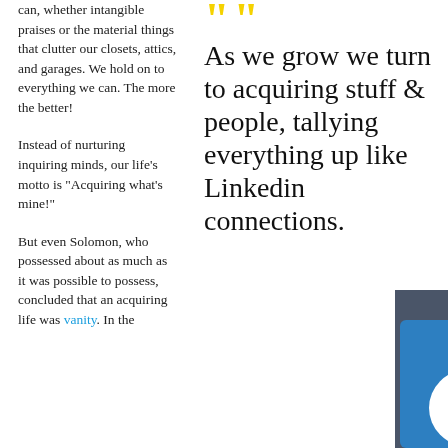can, whether intangible praises or the material things that clutter our closets, attics, and garages. We hold on to everything we can. The more the better!
Instead of nurturing inquiring minds, our life’s motto is “Acquiring what’s mine!”
But even Solomon, who possessed about as much as it was possible to possess, concluded that an acquiring life was vanity. In the
As we grow we turn to acquiring stuff & people, tallying everything up like Linkedin connections.
[Figure (photo): LinkedIn app/website interface showing the LinkedIn logo (blue 'in' icon) and a search bar with magnifying glass icon, overlaid with large yellow closing quotation marks. Bottom right shows partial text 'ldings LLC'.]